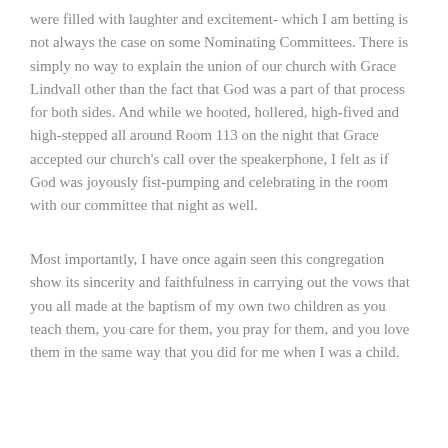were filled with laughter and excitement- which I am betting is not always the case on some Nominating Committees. There is simply no way to explain the union of our church with Grace Lindvall other than the fact that God was a part of that process for both sides. And while we hooted, hollered, high-fived and high-stepped all around Room 113 on the night that Grace accepted our church's call over the speakerphone, I felt as if God was joyously fist-pumping and celebrating in the room with our committee that night as well.
Most importantly, I have once again seen this congregation show its sincerity and faithfulness in carrying out the vows that you all made at the baptism of my own two children as you teach them, you care for them, you pray for them, and you love them in the same way that you did for me when I was a child.